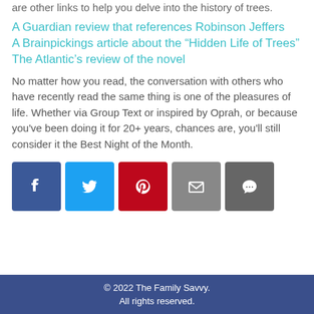are other links to help you delve into the history of trees.
A Guardian review that references Robinson Jeffers
A Brainpickings article about the "Hidden Life of Trees"
The Atlantic's review of the novel
No matter how you read, the conversation with others who have recently read the same thing is one of the pleasures of life. Whether via Group Text or inspired by Oprah, or because you've been doing it for 20+ years, chances are, you'll still consider it the Best Night of the Month.
[Figure (infographic): Row of five social share icon buttons: Facebook (blue), Twitter (light blue), Pinterest (red), Email (gray), Message/comment (dark gray)]
© 2022 The Family Savvy.
All rights reserved.